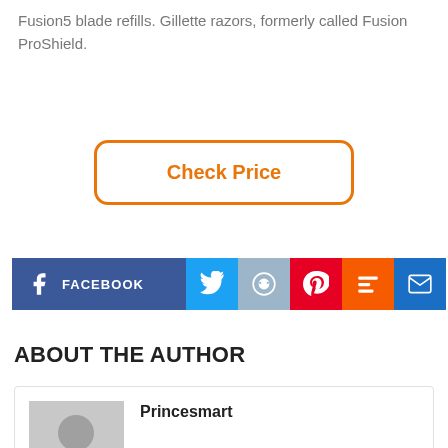Fusion5 blade refills. Gillette razors, formerly called Fusion ProShield.
[Figure (other): Check Price button with orange border and orange text]
[Figure (other): Social sharing bar with Facebook, Twitter, Reddit, Pinterest, Mix, and Email buttons]
ABOUT THE AUTHOR
[Figure (other): Author card with placeholder avatar and name Princesmart]